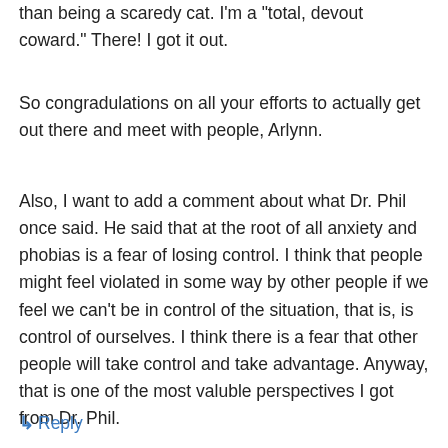than being a scaredy cat. I'm a "total, devout coward." There! I got it out.
So congradulations on all your efforts to actually get out there and meet with people, Arlynn.
Also, I want to add a comment about what Dr. Phil once said. He said that at the root of all anxiety and phobias is a fear of losing control. I think that people might feel violated in some way by other people if we feel we can't be in control of the situation, that is, is control of ourselves. I think there is a fear that other people will take control and take advantage. Anyway, that is one of the most valuble perspectives I got from Dr. Phil.
↳ Reply